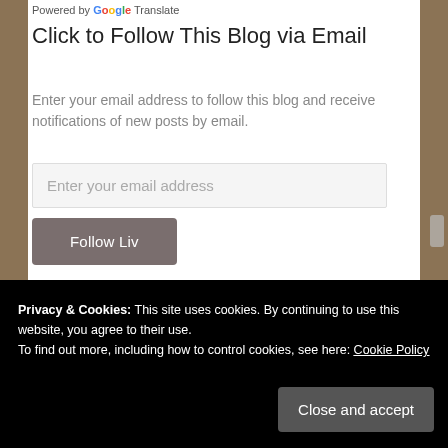Powered by Google Translate
Click to Follow This Blog via Email
Enter your email address to follow this blog and receive notifications of new posts by email.
Enter your email address
Follow Liv
Privacy & Cookies: This site uses cookies. By continuing to use this website, you agree to their use.
To find out more, including how to control cookies, see here: Cookie Policy
Close and accept